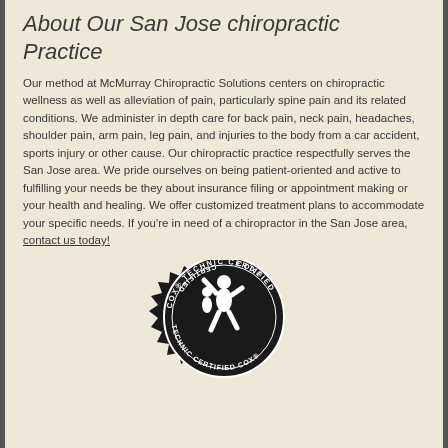About Our San Jose chiropractic Practice
Our method at McMurray Chiropractic Solutions centers on chiropractic wellness as well as alleviation of pain, particularly spine pain and its related conditions. We administer in depth care for back pain, neck pain, headaches, shoulder pain, arm pain, leg pain, and injuries to the body from a car accident, sports injury or other cause. Our chiropractic practice respectfully serves the San Jose area. We pride ourselves on being patient-oriented and active to fulfilling your needs be they about insurance filing or appointment making or your health and healing. We offer customized treatment plans to accommodate your specific needs. If you're in need of a chiropractor in the San Jose area, contact us today!
[Figure (logo): Cox Technic Certified circular badge/seal in black and white, featuring a human figure and text reading COX TECHNIC CERTIFIED around the border with decorative gear-like outer edge.]